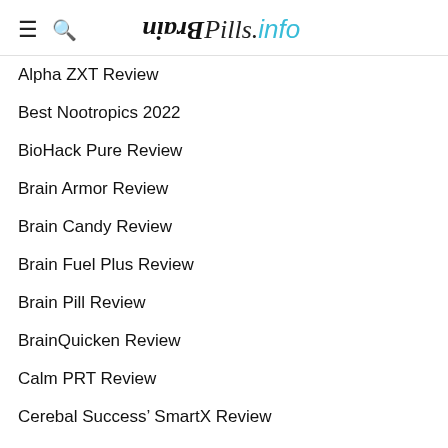BrainPills.info
Alpha ZXT Review
Best Nootropics 2022
BioHack Pure Review
Brain Armor Review
Brain Candy Review
Brain Fuel Plus Review
Brain Pill Review
BrainQuicken Review
Calm PRT Review
Cerebal Success’ SmartX Review
Ciltep Review
Concerta Review